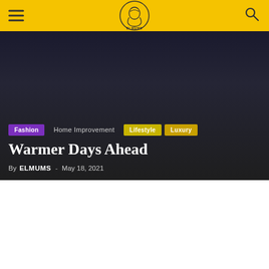ELMUMS
[Figure (photo): Dark hero banner image with gradient background, overlaid with category tags and article title]
Fashion  Home Improvement  Lifestyle  Luxury
Warmer Days Ahead
By ELMUMS - May 18, 2021